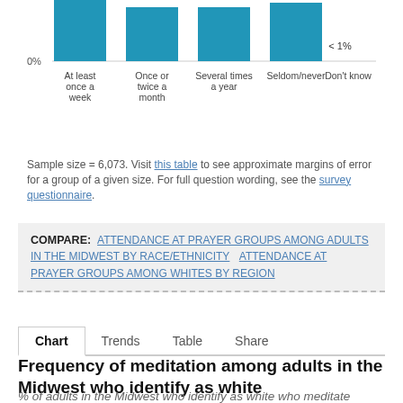[Figure (bar-chart): Partial bar chart visible at top of page showing prayer group attendance frequencies. Bars are teal/blue. Only the bottom portion of bars and x-axis labels visible.]
Sample size = 6,073. Visit this table to see approximate margins of error for a group of a given size. For full question wording, see the survey questionnaire.
COMPARE: ATTENDANCE AT PRAYER GROUPS AMONG ADULTS IN THE MIDWEST BY RACE/ETHNICITY   ATTENDANCE AT PRAYER GROUPS AMONG WHITES BY REGION
Chart   Trends   Table   Share
Frequency of meditation among adults in the Midwest who identify as white
% of adults in the Midwest who identify as white who meditate